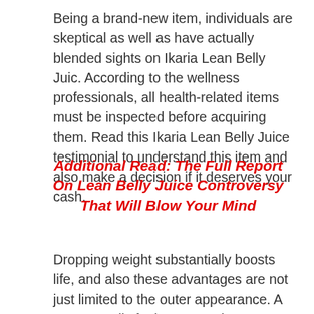Being a brand-new item, individuals are skeptical as well as have actually blended sights on Ikaria Lean Belly Juic. According to the wellness professionals, all health-related items must be inspected before acquiring them. Read this Ikaria Lean Belly Juice testimonial to understand this item and also make a decision if it deserves your cash.
Additional Read: The Full Report On Lean Belly Juice Controversy That Will Blow Your Mind
Dropping weight substantially boosts life, and also these advantages are not just limited to the outer appearance. A person really feels more active,